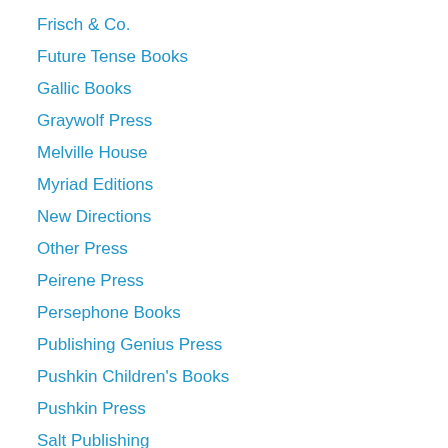Frisch & Co.
Future Tense Books
Gallic Books
Graywolf Press
Melville House
Myriad Editions
New Directions
Other Press
Peirene Press
Persephone Books
Publishing Genius Press
Pushkin Children's Books
Pushkin Press
Salt Publishing
Serpent's Tail
SF/LD Books
Small Beer Press
Solid Objects
The Feminist Press
The Lit Pub